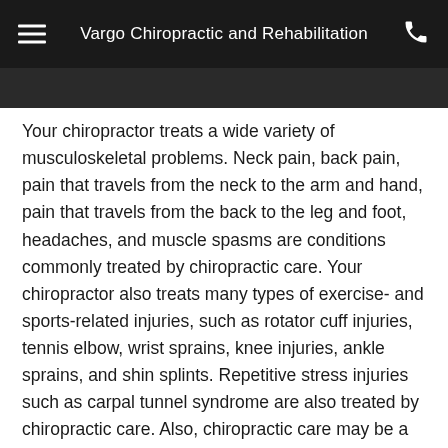Vargo Chiropractic and Rehabilitation
Your chiropractor treats a wide variety of musculoskeletal problems. Neck pain, back pain, pain that travels from the neck to the arm and hand, pain that travels from the back to the leg and foot, headaches, and muscle spasms are conditions commonly treated by chiropractic care. Your chiropractor also treats many types of exercise- and sports-related injuries, such as rotator cuff injuries, tennis elbow, wrist sprains, knee injuries, ankle sprains, and shin splints. Repetitive stress injuries such as carpal tunnel syndrome are also treated by chiropractic care. Also, chiropractic care may be a valuable addition to treatment for sleep disorders, digestive problems, menstrual cramps, asthma, and various allergies. Chiropractic care may also be of great assistance during pregnancy, in helping to relieve neck